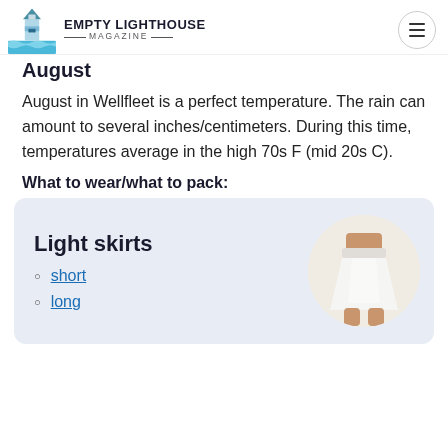Empty Lighthouse Magazine
August
August in Wellfleet is a perfect temperature. The rain can amount to several inches/centimeters. During this time, temperatures average in the high 70s F (mid 20s C).
What to wear/what to pack:
[Figure (other): Product card with light blue background showing 'Light skirts' with links to 'short' and 'long', and a circular photo of a white skirt worn by a person]
short
long